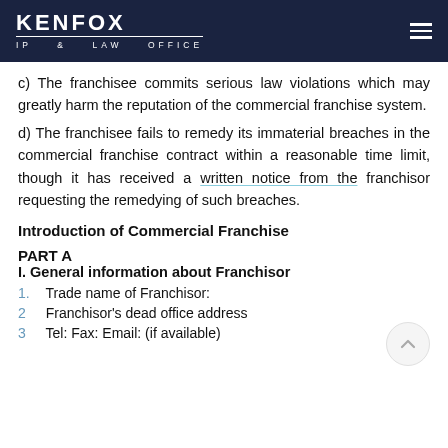KENFOX IP & LAW OFFICE
c) The franchisee commits serious law violations which may greatly harm the reputation of the commercial franchise system.
d) The franchisee fails to remedy its immaterial breaches in the commercial franchise contract within a reasonable time limit, though it has received a written notice from the franchisor requesting the remedying of such breaches.
Introduction of Commercial Franchise
PART A
I. General information about Franchisor
1. Trade name of Franchisor:
2. Franchisor's dead office address
3. Tel: Fax: Email: (if available)